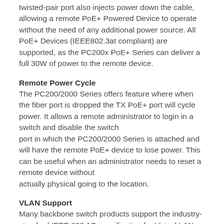twisted-pair port also injects power down the cable, allowing a remote PoE+ Powered Device to operate without the need of any additional power source. All PoE+ Devices (IEEE802.3at compliant) are supported, as the PC200x PoE+ Series can deliver a full 30W of power to the remote device.
Remote Power Cycle
The PC200/2000 Series offers feature where when the fiber port is dropped the TX PoE+ port will cycle power. It allows a remote administrator to login in a switch and disable the switch port in which the PC200/2000 Series is attached and will have the remote PoE+ device to lose power. This can be useful when an administrator needs to reset a remote device without actually physical going to the location.
VLAN Support
Many backbone switch products support the industry-standard IEEE 802.1Q specification for Virtual LANs (VLANs) that sends extra-